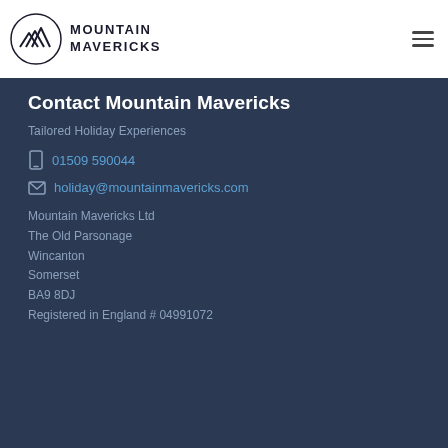[Figure (logo): Mountain Mavericks logo — circular emblem with stylized mountain peaks (geometric triple-chevron pattern) on left, bold uppercase text MOUNTAIN MAVERICKS on right]
Contact Mountain Mavericks
Tailored Holiday Experiences
01509 590044
holiday@mountainmavericks.com
Mountain Mavericks Ltd
The Old Parsonage
Wincanton
Somerset
BA9 8DJ
Registered in England # 04991072